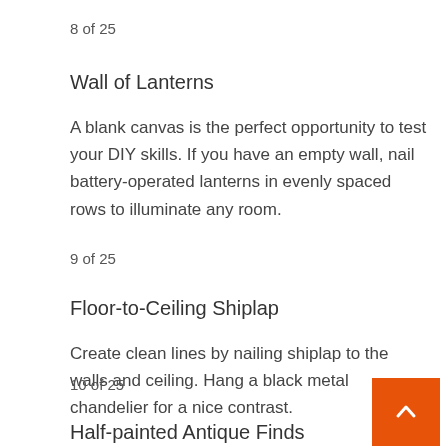8 of 25
Wall of Lanterns
A blank canvas is the perfect opportunity to test your DIY skills. If you have an empty wall, nail battery-operated lanterns in evenly spaced rows to illuminate any room.
9 of 25
Floor-to-Ceiling Shiplap
Create clean lines by nailing shiplap to the walls and ceiling. Hang a black metal chandelier for a nice contrast.
10 of 25
Half-painted Antique Finds